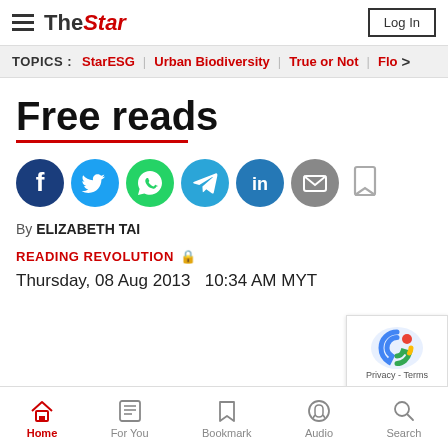The Star — Log In
TOPICS : StarESG | Urban Biodiversity | True or Not | Flo >
Free reads
[Figure (infographic): Row of social sharing icon buttons: Facebook (dark blue), Twitter (light blue), WhatsApp (green), Telegram (teal), LinkedIn (blue), Email (grey), and a bookmark icon]
By ELIZABETH TAI
READING REVOLUTION 🔒
Thursday, 08 Aug 2013   10:34 AM MYT
[Figure (logo): Google reCAPTCHA badge with Privacy and Terms links]
Home | For You | Bookmark | Audio | Search